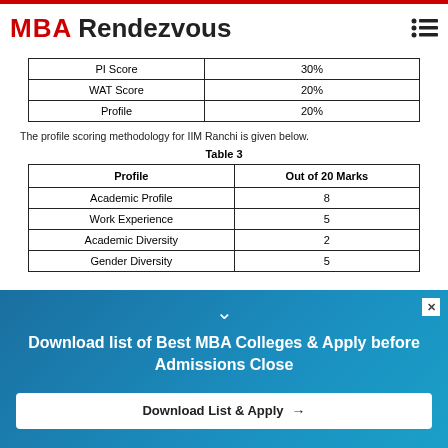MBA Rendezvous
| PI Score | 30% |
| --- | --- |
| WAT Score | 20% |
| Profile | 20% |
The profile scoring methodology for IIM Ranchi is given below.
Table 3
| Profile | Out of 20 Marks |
| --- | --- |
| Academic Profile | 8 |
| Work Experience | 5 |
| Academic Diversity | 2 |
| Gender Diversity | 5 |
Download list of Best MBA Colleges & Apply before Admissions Close
Download List & Apply →